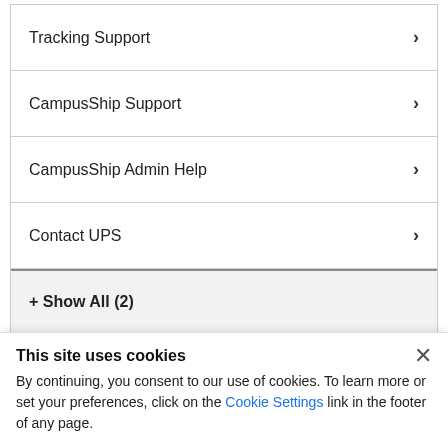Tracking Support
CampusShip Support
CampusShip Admin Help
Contact UPS
+ Show All (2)
Got questions about the UPS Developer Kit API?
This site uses cookies
By continuing, you consent to our use of cookies. To learn more or set your preferences, click on the Cookie Settings link in the footer of any page.